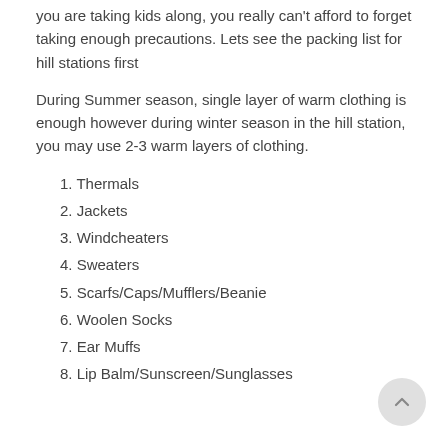you are taking kids along, you really can't afford to forget taking enough precautions. Lets see the packing list for hill stations first
During Summer season, single layer of warm clothing is enough however during winter season in the hill station, you may use 2-3 warm layers of clothing.
1. Thermals
2. Jackets
3. Windcheaters
4. Sweaters
5. Scarfs/Caps/Mufflers/Beanie
6. Woolen Socks
7. Ear Muffs
8. Lip Balm/Sunscreen/Sunglasses